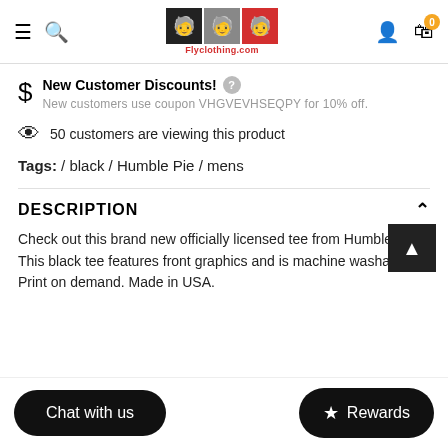[Figure (logo): Fly Clothing website header with hamburger menu, search icon, logo (three jacket icons in black/gray/red), user icon, and cart icon with badge 0]
New Customer Discounts! New customers use coupon VHGVEVHSEQPY for 10% off.
50 customers are viewing this product
Tags: / black / Humble Pie / mens
DESCRIPTION
Check out this brand new officially licensed tee from Humble Pie. This black tee features front graphics and is machine washable. Print on demand. Made in USA.